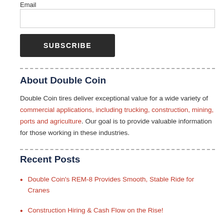Email
[input field]
SUBSCRIBE
About Double Coin
Double Coin tires deliver exceptional value for a wide variety of commercial applications, including trucking, construction, mining, ports and agriculture. Our goal is to provide valuable information for those working in these industries.
Recent Posts
Double Coin's REM-8 Provides Smooth, Stable Ride for Cranes
Construction Hiring & Cash Flow on the Rise!